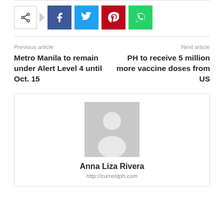[Figure (infographic): Social share buttons: share icon with arrow, Facebook, Twitter, Pinterest, WhatsApp]
Previous article
Metro Manila to remain under Alert Level 4 until Oct. 15
Next article
PH to receive 5 million more vaccine doses from US
[Figure (photo): Author avatar placeholder image (grey silhouette)]
Anna Liza Rivera
http://currentph.com